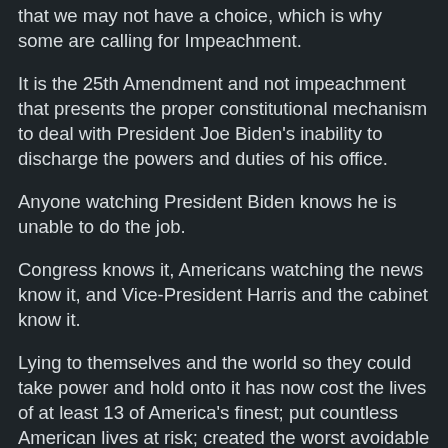that we may not have a choice, which is why some are calling for Impeachment.
It is the 25th Amendment and not impeachment that presents the proper constitutional mechanism to deal with President Joe Biden's inability to discharge the powers and duties of his office.
Anyone watching President Biden knows he is unable to do the job.
Congress knows it, Americans watching the news know it, and Vice-President Harris and the cabinet know it.
Lying to themselves and the world so they could take power and hold onto it has now cost the lives of at least 13 of America's finest; put countless American lives at risk; created the worst avoidable foreign policy debacle in our history; and has done immeasurable damage to America's standing in the world.